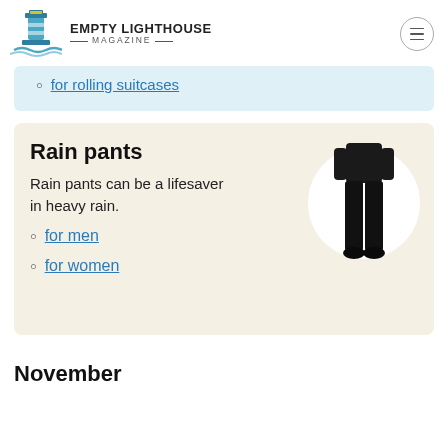EMPTY LIGHTHOUSE MAGAZINE
for rolling suitcases
Rain pants
Rain pants can be a lifesaver in heavy rain.
[Figure (photo): Person wearing black rain pants, full length view against white circle background]
for men
for women
November